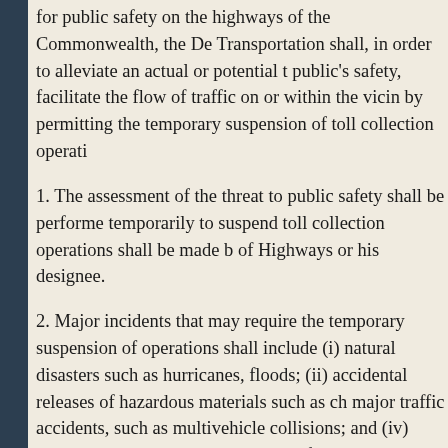for public safety on the highways of the Commonwealth, the De Transportation shall, in order to alleviate an actual or potential t public's safety, facilitate the flow of traffic on or within the vici by permitting the temporary suspension of toll collection operati
1. The assessment of the threat to public safety shall be performe temporarily to suspend toll collection operations shall be made b of Highways or his designee.
2. Major incidents that may require the temporary suspension of operations shall include (i) natural disasters such as hurricanes, floods; (ii) accidental releases of hazardous materials such as ch major traffic accidents, such as multivehicle collisions; and (iv) deemed to present a risk to public safety.
3. In any judicial proceeding in which a person is found to be cri civilly liable for any incident resulting in the suspension of toll c in this subsection, the court may assess against the person an am revenue as a part of the costs of the proceeding and order that su exceed $2,000 for any individual incident, be paid to the Depart